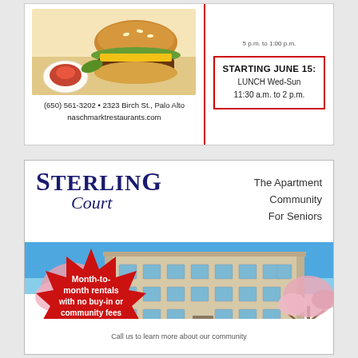[Figure (photo): Top advertisement with food photo (burger and ketchup bowl), contact info, and lunch hours announcement]
(650) 561-3202 • 2323 Birch St., Palo Alto
naschmarktrestaurants.com
5 p.m. to 1:00 p.m.
STARTING JUNE 15:
LUNCH Wed-Sun
11:30 a.m. to 2 p.m.
[Figure (photo): Sterling Court apartment community advertisement showing building exterior with cherry blossoms, starburst promotion and blue scroll button]
Sterling Court
The Apartment Community For Seniors
Month-to-month rentals with no buy-in or community fees